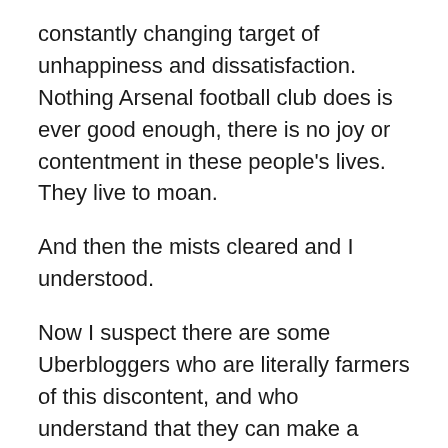constantly changing target of unhappiness and dissatisfaction. Nothing Arsenal football club does is ever good enough, there is no joy or contentment in these people's lives. They live to moan.
And then the mists cleared and I understood.
Now I suspect there are some Uberbloggers who are literally farmers of this discontent, and who understand that they can make a living by peddling material that attracts hits on their websites and £k'ching in their accounts. In a sense I admire them. They have identified a market and have devised, over time, a service product that satisfies and earns them a reward for work undertaken. They supply the sheep with a constantly changing themes of the wrong that Arsenal football club is doing to their fans, a daily diet of alleged crimes to top up their